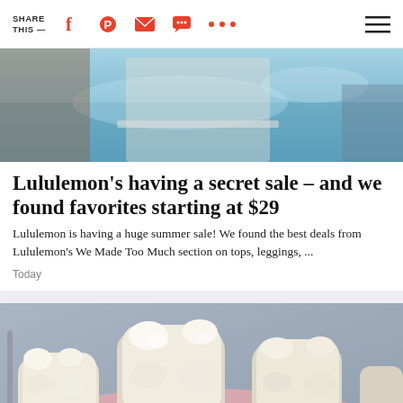SHARE THIS —
[Figure (photo): Person reading or writing at a poolside with blue water visible, yoga/athletic context]
Lululemon's having a secret sale – and we found favorites starting at $29
Lululemon is having a huge summer sale! We found the best deals from Lululemon's We Made Too Much section on tops, leggings, ...
Today
[Figure (photo): Close-up photo of dental model showing white teeth/molars with pink gum material]